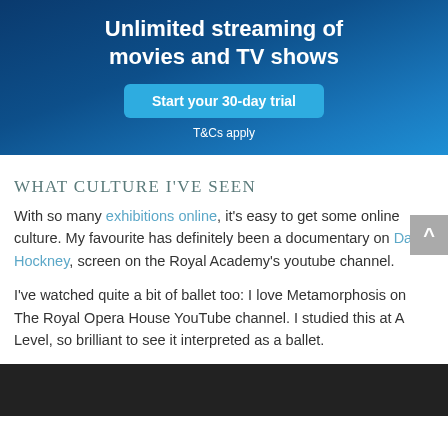[Figure (infographic): Amazon Prime Video banner advertisement with dark blue gradient background. Text reads 'Unlimited streaming of movies and TV shows' with a teal 'Start your 30-day trial' button and 'T&Cs apply' below.]
What culture I've seen
With so many exhibitions online, it's easy to get some online culture. My favourite has definitely been a documentary on David Hockney, screen on the Royal Academy's youtube channel.
I've watched quite a bit of ballet too: I love Metamorphosis on The Royal Opera House YouTube channel. I studied this at A Level, so brilliant to see it interpreted as a ballet.
[Figure (screenshot): Dark video player thumbnail at the bottom of the page.]